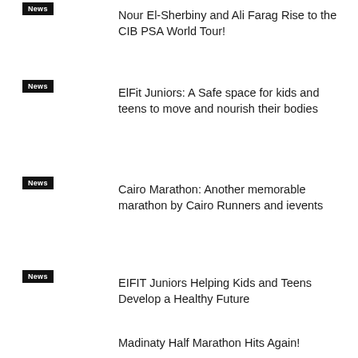News
Nour El-Sherbiny and Ali Farag Rise to the CIB PSA World Tour!
News
ElFit Juniors: A Safe space for kids and teens to move and nourish their bodies
News
Cairo Marathon: Another memorable marathon by Cairo Runners and ievents
News
EIFIT Juniors Helping Kids and Teens Develop a Healthy Future
News
Madinaty Half Marathon Hits Again!